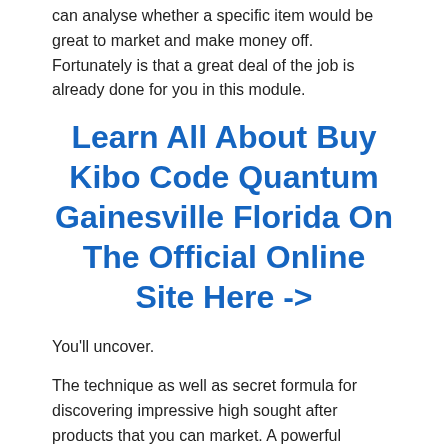can analyse whether a specific item would be great to market and make money off. Fortunately is that a great deal of the job is already done for you in this module.
Learn All About Buy Kibo Code Quantum Gainesville Florida On The Official Online Site Here ->
You'll uncover.
The technique as well as secret formula for discovering impressive high sought after products that you can market. A powerful procedure that will raise your profits daily.
Component 4– Earnings Vault.
This is the module that will help you in locating top profitable products. Many individuals seeking to start earning money online